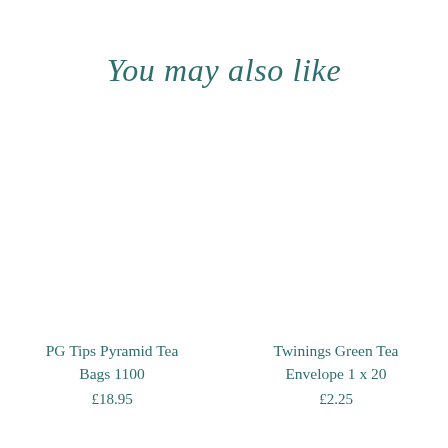You may also like
PG Tips Pyramid Tea Bags 1100
£18.95
Twinings Green Tea Envelope 1 x 20
£2.25